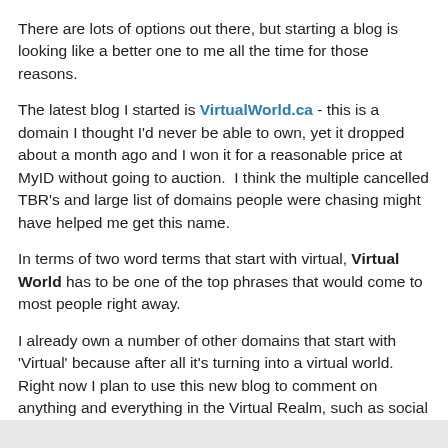There are lots of options out there, but starting a blog is looking like a better one to me all the time for those reasons.
The latest blog I started is VirtualWorld.ca - this is a domain I thought I'd never be able to own, yet it dropped about a month ago and I won it for a reasonable price at MyID without going to auction.  I think the multiple cancelled TBR's and large list of domains people were chasing might have helped me get this name.
In terms of two word terms that start with virtual, Virtual World has to be one of the top phrases that would come to most people right away.
I already own a number of other domains that start with 'Virtual' because after all it's turning into a virtual world.  Right now I plan to use this new blog to comment on anything and everything in the Virtual Realm, such as social media and gaming.  We'll see how it goes!